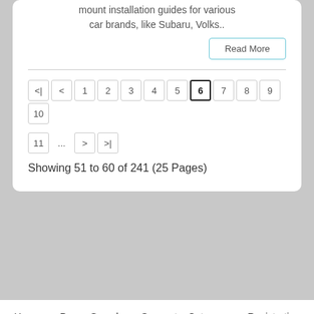mount installation guides for various car brands, like Subaru, Volks..
Read More
Showing 51 to 60 of 241 (25 Pages)
Home   Power Search   Suggest a Category   Registration   Copyright @ 2011 - 2022 stardirectory.org